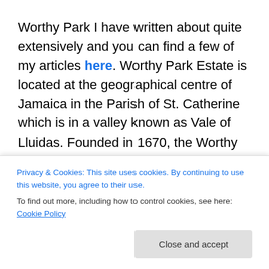Worthy Park I have written about quite extensively and you can find a few of my articles here. Worthy Park Estate is located at the geographical centre of Jamaica in the Parish of St. Catherine which is in a valley known as Vale of Lluidas. Founded in 1670, the Worthy Park Estate has only ever been owned by three families. Commercial cultivation of sugarcane began in 1720 and has continued unabated to this day, and Rum production at Worthy Park has been recorded from as early as 1741, which makes it the oldest producer still in existence in Jamaica. Rum
Privacy & Cookies: This site uses cookies. By continuing to use this website, you agree to their use. To find out more, including how to control cookies, see here: Cookie Policy